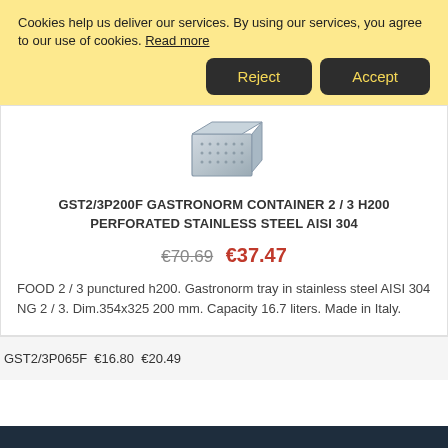Cookies help us deliver our services. By using our services, you agree to our use of cookies. Read more
Reject | Accept
[Figure (photo): Stainless steel gastronorm container, perforated, 2/3 size]
GST2/3P200F GASTRONORM CONTAINER 2 / 3 H200 PERFORATED STAINLESS STEEL AISI 304
€70.69  €37.47
FOOD 2 / 3 punctured h200. Gastronorm tray in stainless steel AISI 304 NG 2 / 3. Dim.354x325 200 mm. Capacity 16.7 liters. Made in Italy.
GST2/3P065F €16.80 €20.49